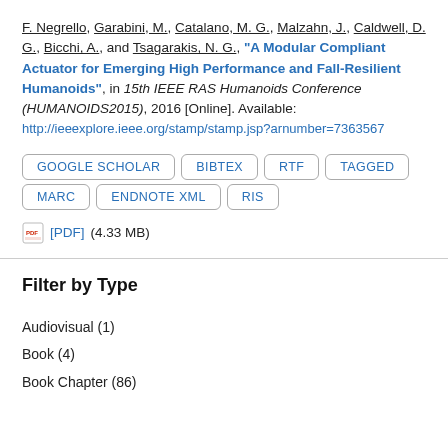F. Negrello, Garabini, M., Catalano, M. G., Malzahn, J., Caldwell, D. G., Bicchi, A., and Tsagarakis, N. G., "A Modular Compliant Actuator for Emerging High Performance and Fall-Resilient Humanoids", in 15th IEEE RAS Humanoids Conference (HUMANOIDS2015), 2016 [Online]. Available: http://ieeexplore.ieee.org/stamp/stamp.jsp?arnumber=7363567
GOOGLE SCHOLAR | BIBTEX | RTF | TAGGED | MARC | ENDNOTE XML | RIS
[PDF] (4.33 MB)
Filter by Type
Audiovisual (1)
Book (4)
Book Chapter (86)